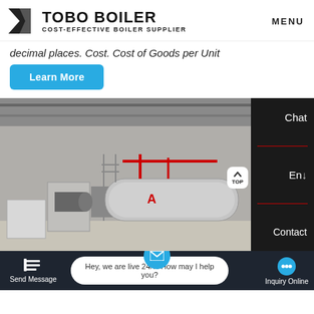[Figure (logo): Tobo Boiler logo with geometric icon, company name in bold and tagline 'COST-EFFECTIVE BOILER SUPPLIER']
decimal places. Cost. Cost of Goods per Unit
Learn More
[Figure (photo): Industrial boiler room with large cylindrical boilers, piping, and metal structure inside a warehouse]
Chat
En
Contact
Send Message
Hey, we are live 24/7. How may I help you?
Inquiry Online